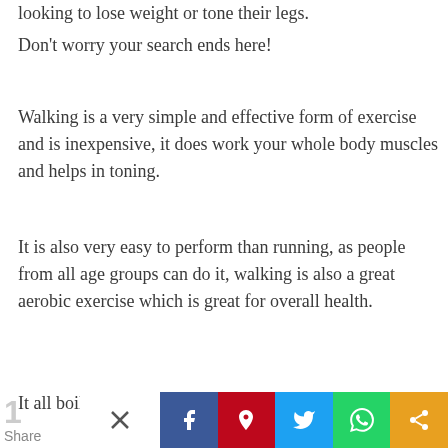looking to lose weight or tone their legs.
Don't worry your search ends here!
Walking is a very simple and effective form of exercise and is inexpensive, it does work your whole body muscles and helps in toning.
It is also very easy to perform than running, as people from all age groups can do it, walking is also a great aerobic exercise which is great for overall health.
It all boils down to what you are comfortable doing!
[Figure (other): Advertisement banner for Lidl: More Food for Less Money with Lidl logo and navigation arrow icon]
1 Share | Social share buttons: Facebook, Pinterest, Twitter, WhatsApp, More